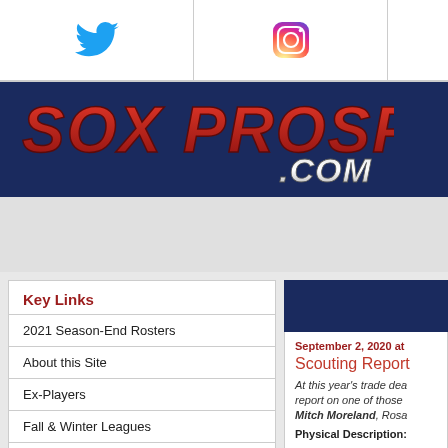[Figure (logo): Twitter bird icon in blue]
[Figure (logo): Instagram icon with gradient]
[Figure (logo): Third social icon (partially visible)]
[Figure (logo): SOX PROSPECTS .COM logo on dark navy background]
Key Links
2021 Season-End Rosters
About this Site
Ex-Players
Fall & Winter Leagues
Features on SP News
Future Roster Projections
September 2, 2020 at
Scouting Report
At this year's trade dea report on one of those Mitch Moreland, Rosa
Physical Description: